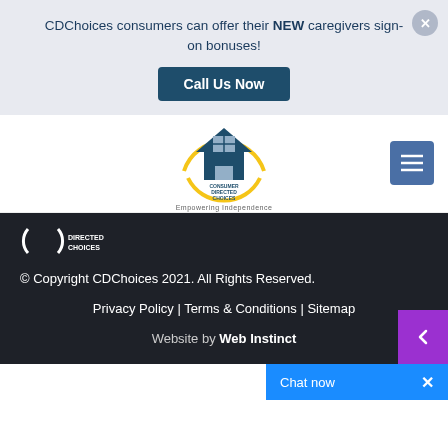CDChoices consumers can offer their NEW caregivers sign-on bonuses!
Call Us Now
[Figure (logo): Consumer Directed Choices logo with house icon inside yellow arc and tagline 'Empowering Independence']
[Figure (other): Hamburger menu button (three horizontal lines on dark blue background)]
[Figure (logo): Consumer Directed Choices footer logo - white partial arc with text DIRECTED CHOICES]
© Copyright CDChoices 2021. All Rights Reserved.
Privacy Policy | Terms & Conditions | Sitemap
Website by Web Instinct
Chat now